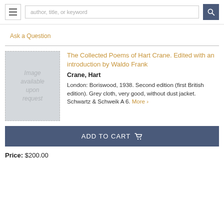author, title, or keyword
Ask a Question
[Figure (illustration): Book cover placeholder reading 'Image available upon request']
The Collected Poems of Hart Crane. Edited with an introduction by Waldo Frank
Crane, Hart
London: Boriswood, 1938. Second edition (first British edition). Grey cloth, very good, without dust jacket. Schwartz & Schweik A 6. More >
ADD TO CART
Price: $200.00